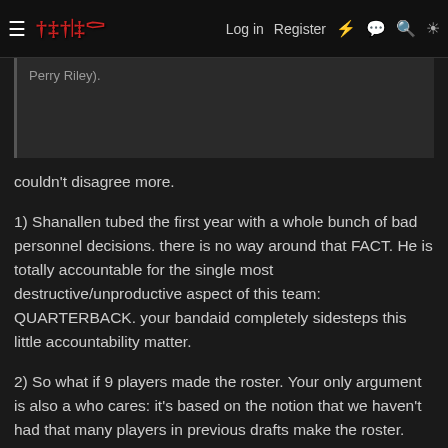IBGFON | Log in | Register
Perry Riley).
couldn't disagree more.
1) Shanallen tubed the first year with a whole bunch of bad personnel decisions. there is no way around that FACT. He is totally accountable for the single most destructive/unproductive aspect of this team: QUARTERBACK. your bandaid completely sidesteps this little accountability matter.
2) So what if 9 players made the roster. Your only argument is also a who cares: it's based on the notion that we haven't had that many players in previous drafts make the roster. This is an old statistical canard - measure progress by setting the baseline rediculously low. moreover....it avoids what really matters...performance. It just throws out some subjective assertions with no proof whatsoever. moroeover, if you think about it, with the exception of Kerrigan, there isn't even enough